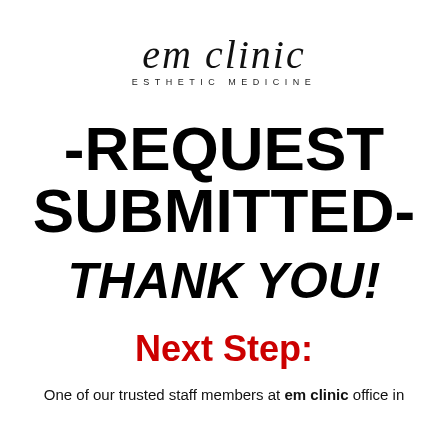[Figure (logo): em clinic Esthetic Medicine logo with script font and spaced uppercase subtitle]
-REQUEST SUBMITTED-
THANK YOU!
Next Step:
One of our trusted staff members at em clinic office in